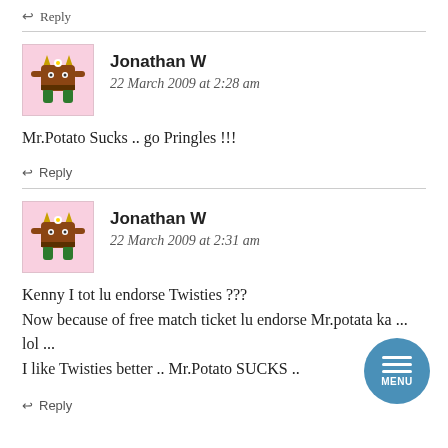↩ Reply
Jonathan W
22 March 2009 at 2:28 am
Mr.Potato Sucks .. go Pringles !!!
↩ Reply
Jonathan W
22 March 2009 at 2:31 am
Kenny I tot lu endorse Twisties ???
Now because of free match ticket lu endorse Mr.potata ka ... lol ...
I like Twisties better .. Mr.Potato SUCKS ..
↩ Reply
[Figure (other): Circular menu button with three horizontal white lines and MENU label, blue background]